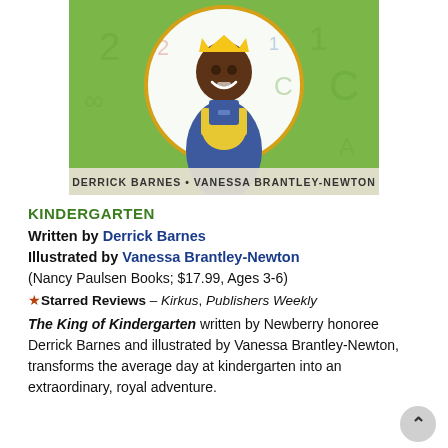[Figure (illustration): Book cover for 'The King of Kindergarten' showing an illustrated African American boy wearing a gold crown and blue overalls, holding backpack straps, set against a green background with numbers and letters. Bottom text reads 'DERRICK BARNES • VANESSA BRANTLEY-NEWTON'.]
KINDERGARTEN
Written by Derrick Barnes
Illustrated by Vanessa Brantley-Newton
(Nancy Paulsen Books; $17.99, Ages 3-6)
★ Starred Reviews – Kirkus, Publishers Weekly
The King of Kindergarten written by Newberry honoree Derrick Barnes and illustrated by Vanessa Brantley-Newton, transforms the average day at kindergarten into an extraordinary, royal adventure.